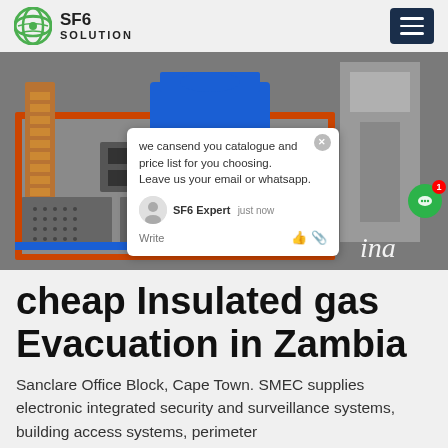SF6 SOLUTION
[Figure (photo): Industrial SF6 gas handling / evacuation equipment in a factory setting. Large orange-framed machine with blue motor, pressure gauges, and perforated metal panels. A chat popup overlay is visible with message: 'we can send you catalogue and price list for you choosing. Leave us your email or whatsapp.' Agent labeled 'SF6 Expert' and timestamp 'just now'. Green chat bubble icon with badge '1'.]
cheap Insulated gas Evacuation in Zambia
Sanclare Office Block, Cape Town. SMEC supplies electronic integrated security and surveillance systems, building access systems, perimeter